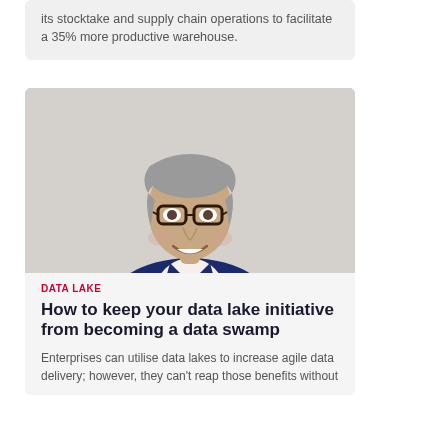its stocktake and supply chain operations to facilitate a 35% more productive warehouse.
[Figure (photo): Professional headshot of a middle-aged man with grey hair, wearing glasses and a navy blue suit jacket over a white shirt, smiling against a light grey background.]
DATA LAKE
How to keep your data lake initiative from becoming a data swamp
Enterprises can utilise data lakes to increase agile data delivery; however, they can't reap those benefits without